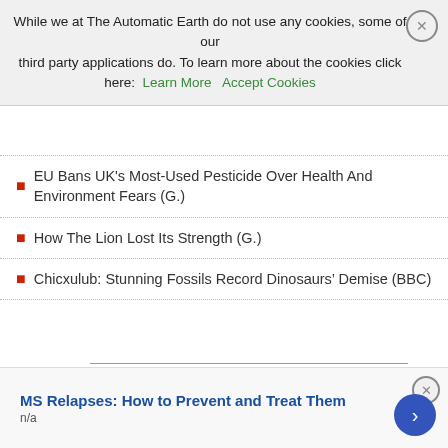While we at The Automatic Earth do not use any cookies, some of our third party applications do. To learn more about the cookies click here: Learn More   Accept Cookies
Who Is Paying For Monsanto's Crimes? We Are (G.)
$80 Million Jury — ently S— New IRS Math (F.)
EU Bans UK's Most-Used Pesticide Over Health And Environment Fears (G.)
How The Lion Lost Its Strength (G.)
Chicxulub: Stunning Fossils Record Dinosaurs' Demise (BBC)
For anyone who wanted to stop Brexit, this seemed the way out: show illegal activity. Plenty appears to be there, but it's been swept under the carpet. Why hasn't it been investigated much more?
MS Relapses: How to Prevent and Treat Them
n/a